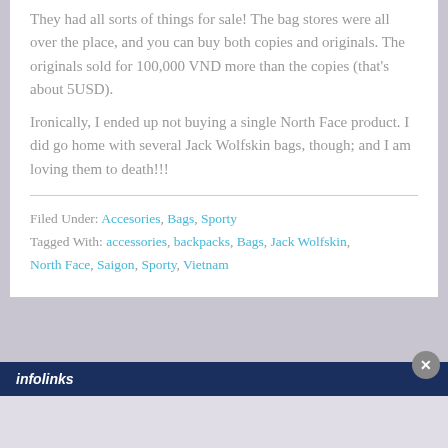They had all sorts of things for sale!  The bag stores were all over the place, and you can buy both copies and originals.  The originals sold for 100,000 VND more than the copies (that's about 5USD).
Ironically, I ended up not buying a single North Face product.  I did go home with several Jack Wolfskin bags, though; and I am loving them to death!!!
Filed Under: Accesories, Bags, Sporty
Tagged With: accessories, backpacks, Bags, Jack Wolfskin, North Face, Saigon, Sporty, Vietnam
[Figure (other): Infolinks advertisement bar at bottom of page with close button]